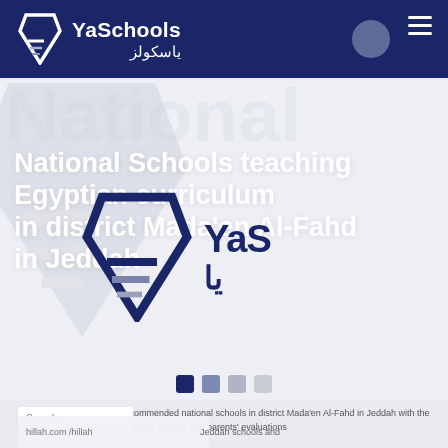YaSchools / ياسكولز
National Schools teaching Egyptian curriculum in district Mada'en Al-Fahd in Jeddah
[Figure (logo): YaS logo with pencil/arrow icon and Arabic letter ya]
To have a directory of the recommended national schools in district Mada'en Al-Fahd in Jeddah with the Egyptian curriculum with all cheap schools and parents' evaluations
Search
similar ratings and Jeddah schools and